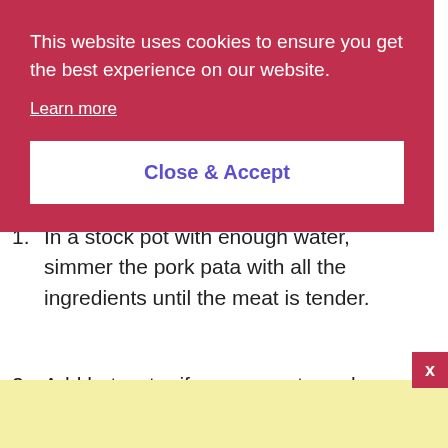This website uses cookies to ensure you get the best experience on our website.
Learn more
Close & Accept
In a stock pot with enough water, simmer the pork pata with all the ingredients until the meat is tender.
Add hot water if necessary to replace the evaporated liquid.